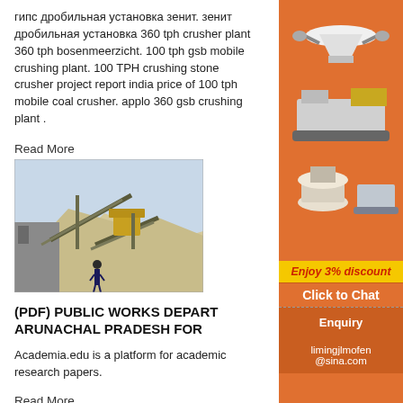гипс дробильная установка зенит. зенит дробильная установка 360 tph crusher plant 360 tph bosenmeerzicht. 100 tph gsb mobile crushing plant. 100 TPH crushing stone crusher project report india price of 100 tph mobile coal crusher. applo 360 gsb crushing plant .
Read More
[Figure (photo): Outdoor industrial crushing/quarry plant site with conveyor belts and heavy machinery, a worker visible in foreground, large pile of aggregate material in background]
(PDF) PUBLIC WORKS DEPARTMENT ARUNACHAL PRADESH FOR
Academia.edu is a platform for academic research papers.
Read More
[Figure (photo): Sidebar advertisement showing orange background with images of mining/crushing machines (cone crusher, mobile crusher, grinding mill). Text: Enjoy 3% discount, Click to Chat, Enquiry, limingjlmofen @sina.com]